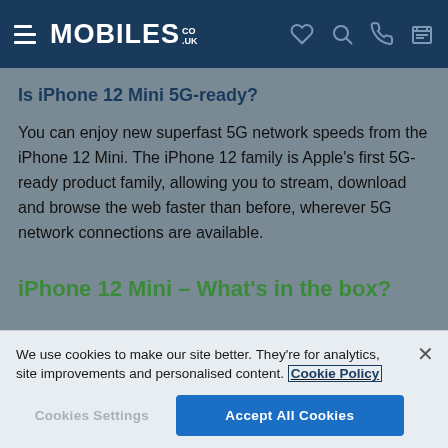MOBILES.CO.UK
Is iPhone 12 Mini 5G-ready?
You can enjoy new superfast 5G network speeds from the iPhone 12 Mini. The iPhone 12 family is Apple’s first 5G-ready product family, allowing you to stream, download and browse the web faster than before, wherever 5G network connections are available.
iPhone 12 Mini – What’s in the box?
We use cookies to make our site better. They’re for analytics, site improvements and personalised content. Cookie Policy
Cookies Settings | Accept All Cookies